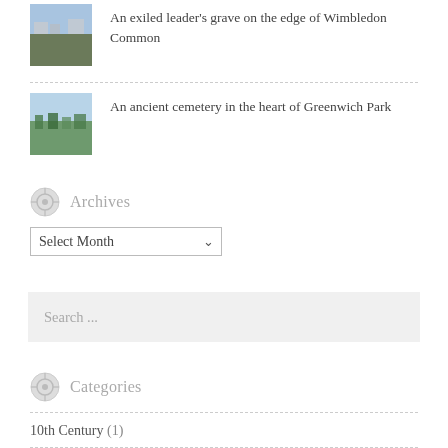An exiled leader's grave on the edge of Wimbledon Common
An ancient cemetery in the heart of Greenwich Park
Archives
Select Month
Search ...
Categories
10th Century (1)
11th Century (4)